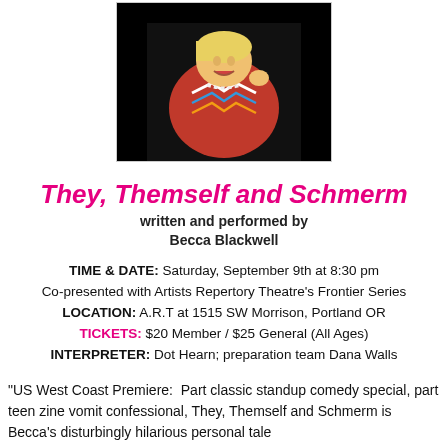[Figure (photo): Performer on stage smiling, wearing a red top with a chevron pattern, against a dark background]
They, Themself and Schmerm
written and performed by
Becca Blackwell
TIME & DATE: Saturday, September 9th at 8:30 pm
Co-presented with Artists Repertory Theatre's Frontier Series
LOCATION: A.R.T at 1515 SW Morrison, Portland OR
TICKETS: $20 Member / $25 General (All Ages)
INTERPRETER: Dot Hearn; preparation team Dana Walls
"US West Coast Premiere:  Part classic standup comedy special, part teen zine vomit confessional, They, Themself and Schmerm is Becca's disturbingly hilarious personal tale